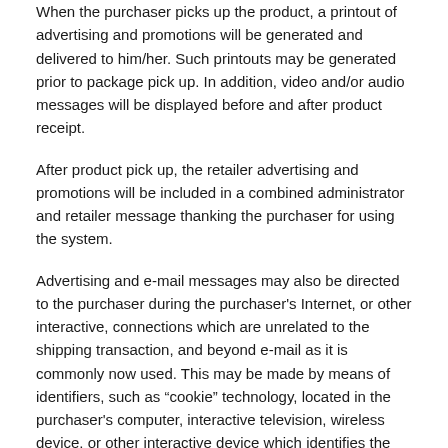When the purchaser picks up the product, a printout of advertising and promotions will be generated and delivered to him/her. Such printouts may be generated prior to package pick up. In addition, video and/or audio messages will be displayed before and after product receipt.
After product pick up, the retailer advertising and promotions will be included in a combined administrator and retailer message thanking the purchaser for using the system.
Advertising and e-mail messages may also be directed to the purchaser during the purchaser's Internet, or other interactive, connections which are unrelated to the shipping transaction, and beyond e-mail as it is commonly now used. This may be made by means of identifiers, such as "cookie" technology, located in the purchaser's computer, interactive television, wireless device, or other interactive device which identifies the purchaser.
In such instances, the administrator will direct advertising from the retail outlet associated with the product pick up, and from other advertisers to the purchaser during the purchaser's other usage of his Internet connection.